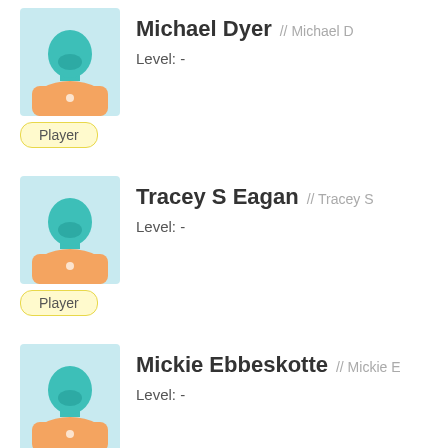[Figure (illustration): Player avatar: teal figure in orange jersey on light blue background]
Michael Dyer // Michael D
Level: -
Player
[Figure (illustration): Player avatar: teal figure in orange jersey on light blue background]
Tracey S Eagan // Tracey S
Level: -
Player
[Figure (illustration): Player avatar: teal figure in orange jersey on light blue background]
Mickie Ebbeskotte // Mickie E
Level: -
Player